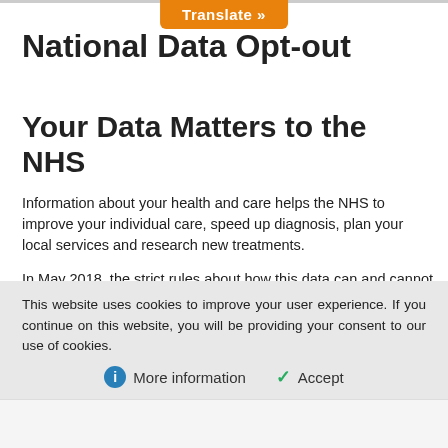National Data Opt-out
Your Data Matters to the NHS
Information about your health and care helps the NHS to improve your individual care, speed up diagnosis, plan your local services and research new treatments.
In May 2018, the strict rules about how this data can and cannot be used were strengthened. The NHS is committed to keeping patient information safe and always being clear about how it is used.
The NHS also has the right to use patient data and has digital governance...
This website uses cookies to improve your user experience. If you continue on this website, you will be providing your consent to our use of cookies.
More information
Accept